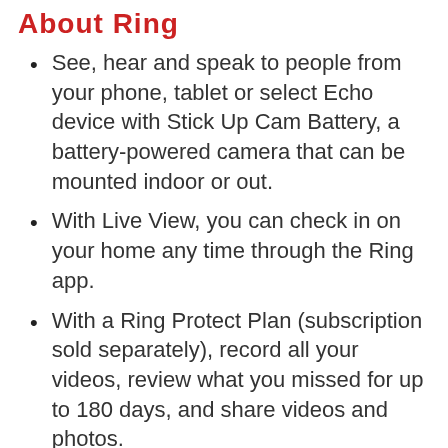About Ring
See, hear and speak to people from your phone, tablet or select Echo device with Stick Up Cam Battery, a battery-powered camera that can be mounted indoor or out.
With Live View, you can check in on your home any time through the Ring app.
With a Ring Protect Plan (subscription sold separately), record all your videos, review what you missed for up to 180 days, and share videos and photos.